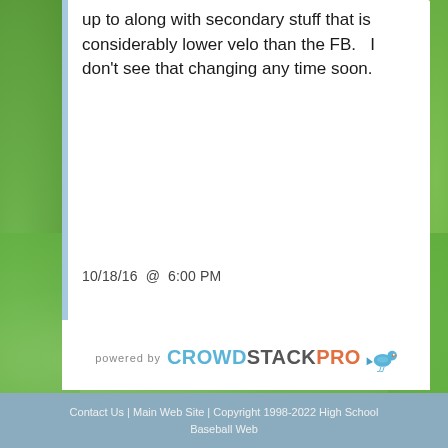up to along with secondary stuff that is considerably lower velo than the FB.   I don't see that changing any time soon.
10/18/16  @  6:00 PM
[Figure (logo): powered by CROWDSTACKPRO logo with bird icon]
Contact Us | Main Web Site | Copyright 1998-2022 High School Baseball Web